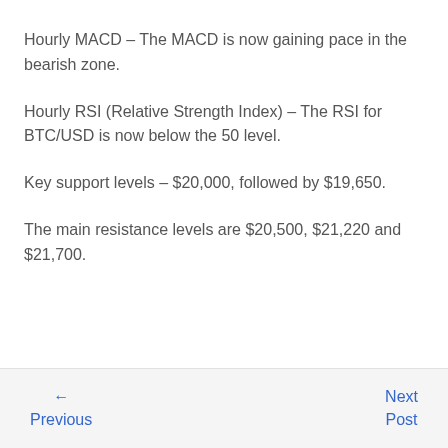Hourly MACD – The MACD is now gaining pace in the bearish zone.
Hourly RSI (Relative Strength Index) – The RSI for BTC/USD is now below the 50 level.
Key support levels – $20,000, followed by $19,650.
The main resistance levels are $20,500, $21,220 and $21,700.
← Previous   Next Post